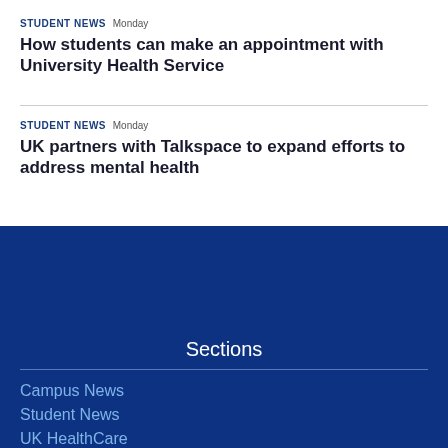STUDENT NEWS  Monday
How students can make an appointment with University Health Service
STUDENT NEWS  Monday
UK partners with Talkspace to expand efforts to address mental health
Sections
Campus News
Student News
UK HealthCare